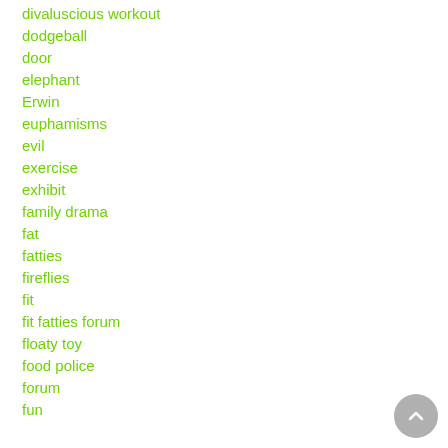divaluscious workout
dodgeball
door
elephant
Erwin
euphamisms
evil
exercise
exhibit
family drama
fat
fatties
fireflies
fit
fit fatties forum
floaty toy
food police
forum
fun